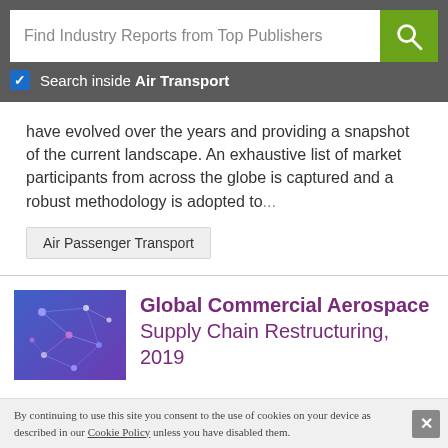Find Industry Reports from Top Publishers
Search inside Air Transport
have evolved over the years and providing a snapshot of the current landscape. An exhaustive list of market participants from across the globe is captured and a robust methodology is adopted to...
Air Passenger Transport
Global Commercial Aerospace Supply Chain Restructuring, 2019
[Figure (illustration): Thumbnail image for a market report about Global Commercial Aerospace Supply Chain Restructuring, showing a blue abstract network/constellation graphic with 'Market Report' label at bottom.]
By continuing to use this site you consent to the use of cookies on your device as described in our Cookie Policy unless you have disabled them.